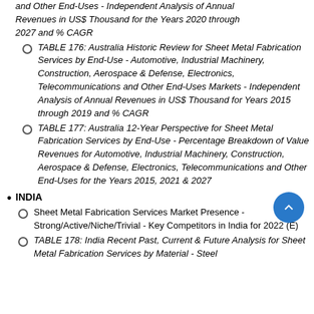and Other End-Uses - Independent Analysis of Annual Revenues in US$ Thousand for the Years 2020 through 2027 and % CAGR
TABLE 176: Australia Historic Review for Sheet Metal Fabrication Services by End-Use - Automotive, Industrial Machinery, Construction, Aerospace & Defense, Electronics, Telecommunications and Other End-Uses Markets - Independent Analysis of Annual Revenues in US$ Thousand for Years 2015 through 2019 and % CAGR
TABLE 177: Australia 12-Year Perspective for Sheet Metal Fabrication Services by End-Use - Percentage Breakdown of Value Revenues for Automotive, Industrial Machinery, Construction, Aerospace & Defense, Electronics, Telecommunications and Other End-Uses for the Years 2015, 2021 & 2027
INDIA
Sheet Metal Fabrication Services Market Presence - Strong/Active/Niche/Trivial - Key Competitors in India for 2022 (E)
TABLE 178: India Recent Past, Current & Future Analysis for Sheet Metal Fabrication Services by Material - Steel